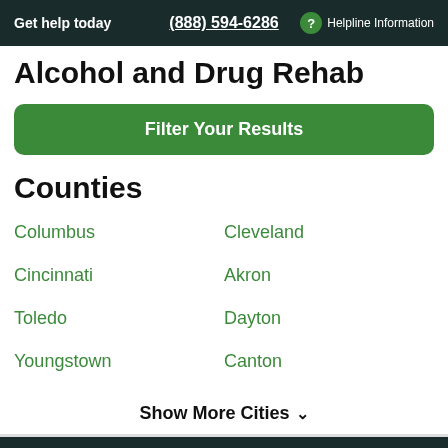Get help today   (888) 594-6286   Helpline Information
Alcohol and Drug Rehab
Filter Your Results
Counties
Columbus
Cleveland
Cincinnati
Akron
Toledo
Dayton
Youngstown
Canton
Show More Cities
Check your insurance coverage